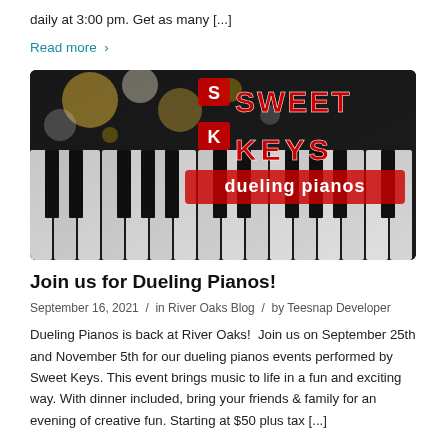daily at 3:00 pm. Get as many […]
Read more >
[Figure (photo): Piano keys in black and white with bokeh golden lights in background. Overlay logo text reading 'Sweet Keys dueling pianos' in red stylized font.]
Join us for Dueling Pianos!
September 16, 2021  /  in River Oaks Blog  /  by Teesnap Developer
Dueling Pianos is back at River Oaks!  Join us on September 25th and November 5th for our dueling pianos events performed by Sweet Keys. This event brings music to life in a fun and exciting way. With dinner included, bring your friends & family for an evening of creative fun. Starting at $50 plus tax […]